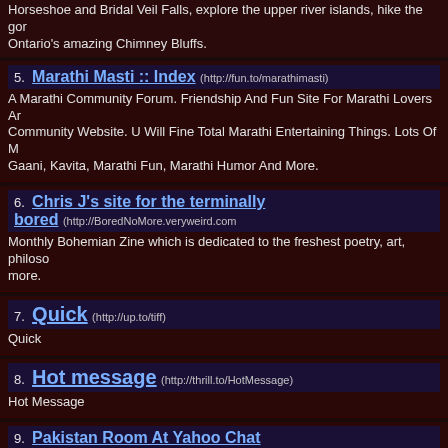Horseshoe and Bridal Veil Falls, explore the upper river islands, hike the gorge trail, Ontario's amazing Chimney Bluffs.
5. Marathi Masti :: Index (http://fun.to/marathimasti) — A Marathi Community Forum. Friendship And Fun Site For Marathi Lovers And Community Website. U Will Fine Total Marathi Entertaining Things. Lots Of Marathi Gaani, Kavita, Marathi Fun, Marathi Humor And More.
6. Chris J's site for the terminally bored (http://BoredNoMore.veryweird.com) — Monthly Bohemian Zine which is dedicated to the freshest poetry, art, philosophy and more.
7. Quick (http://up.to/tiff) — Quick
8. Hot message (http://thrill.to/HotMessage) — Hot Message
9. Pakistan Room At Yahoo Chat Page (http://escape.to/my_pakistan) — All the participants of the YAHOO Pakistan Room are featured here. There pictures, questionaires, etc. Also, we have up-to-date links to all the favourite Poets of recipes of Desi Cuisine and much MUCH more. Come and
10. SilverScot (http://webalias.com/SilverScot) — Silver Scot Publications Return of Robert Burns & The Haggis
Next 10 Results